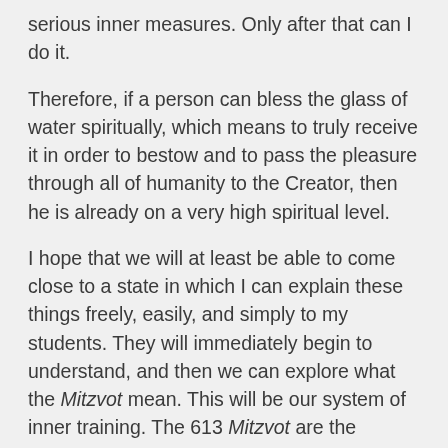serious inner measures. Only after that can I do it.
Therefore, if a person can bless the glass of water spiritually, which means to truly receive it in order to bestow and to pass the pleasure through all of humanity to the Creator, then he is already on a very high spiritual level.
I hope that we will at least be able to come close to a state in which I can explain these things freely, easily, and simply to my students. They will immediately begin to understand, and then we can explore what the Mitzvot mean. This will be our system of inner training. The 613 Mitzvot are the system of the spiritual levels; our system of correction of in order to bestow or of receiving in order to bestow.
But this will happen when we have not only a common written language or an oral language, but also a common...